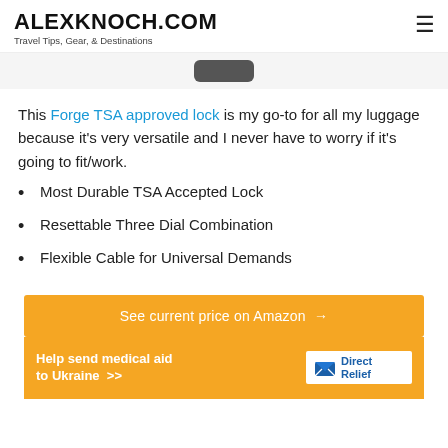ALEXKNOCH.COM
Travel Tips, Gear, & Destinations
[Figure (photo): Partial image of a dark-colored TSA lock handle visible at the top of the content area]
This Forge TSA approved lock is my go-to for all my luggage because it's very versatile and I never have to worry if it's going to fit/work.
Most Durable TSA Accepted Lock
Resettable Three Dial Combination
Flexible Cable for Universal Demands
See current price on Amazon →
Help send medical aid to Ukraine >> DirectRelief